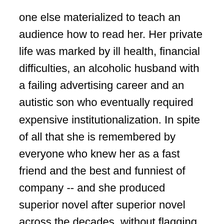one else materialized to teach an audience how to read her. Her private life was marked by ill health, financial difficulties, an alcoholic husband with a failing advertising career and an autistic son who eventually required expensive institutionalization. In spite of all that she is remembered by everyone who knew her as a fast friend and the best and funniest of company -- and she produced superior novel after superior novel across the decades, without flagging or public complaint.
The inner Dawn Powell was even more impressive. Her novels imply no correspondence whatsoever between artistic and literary abilities and any other admirable qualities (if anything, they suggest the